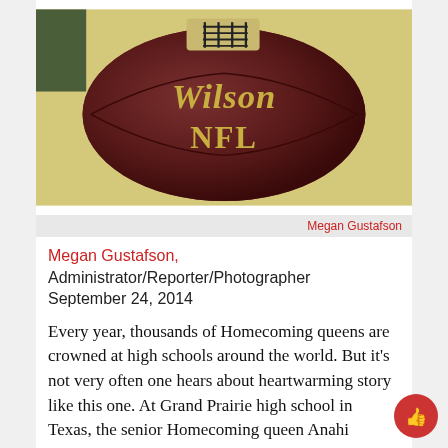[Figure (photo): Wilson NFL football resting on a light-colored fabric surface, photographed close-up showing the Wilson and NFL branding on the leather ball.]
Megan Gustafson
Megan Gustafson, Administrator/Reporter/Photographer September 24, 2014
Every year, thousands of Homecoming queens are crowned at high schools around the world. But it's not very often one hears about heartwarming story like this one. At Grand Prairie high school in Texas, the senior Homecoming queen Anahi Alvarez gave